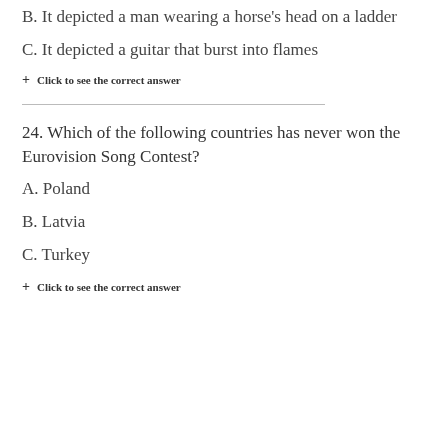B. It depicted a man wearing a horse's head on a ladder
C. It depicted a guitar that burst into flames
+ Click to see the correct answer
24. Which of the following countries has never won the Eurovision Song Contest?
A. Poland
B. Latvia
C. Turkey
+ Click to see the correct answer